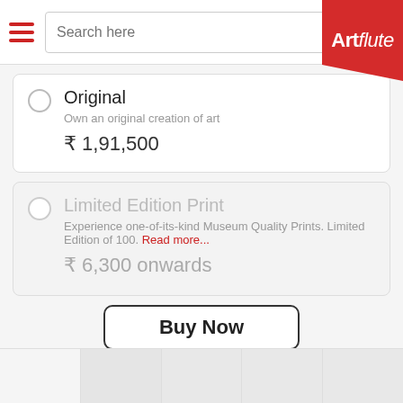[Figure (screenshot): Artflute website navigation bar with hamburger menu, search box, and Artflute logo on red background]
Original
Own an original creation of art
₹ 1,91,500
Limited Edition Print
Experience one-of-its-kind Museum Quality Prints. Limited Edition of 100. Read more...
₹ 6,300 onwards
Buy Now